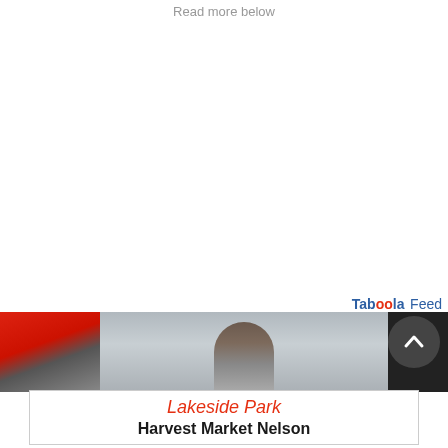Read more below
Taboola Feed
[Figure (photo): Taboola feed image strip showing partial photo with person and dark background image]
[Figure (infographic): Lakeside Park Harvest Market Nelson advertisement banner with decorative elements on left and right sides]